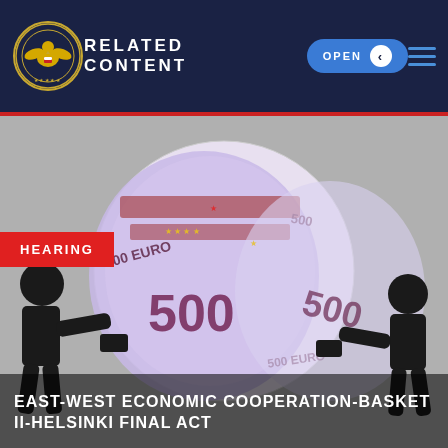RELATED CONTENT
[Figure (illustration): Commission on Security and Cooperation in Europe (CSCE) official seal/logo — gold eagle emblem on dark navy background]
[Figure (photo): Main image showing two silhouetted figures pushing against a large globe made of 500 Euro banknotes, with a grey background. HEARING badge overlay in upper left. Title overlay at bottom: EAST-WEST ECONOMIC COOPERATION-BASKET II-HELSINKI FINAL ACT]
EAST-WEST ECONOMIC COOPERATION-BASKET II-HELSINKI FINAL ACT